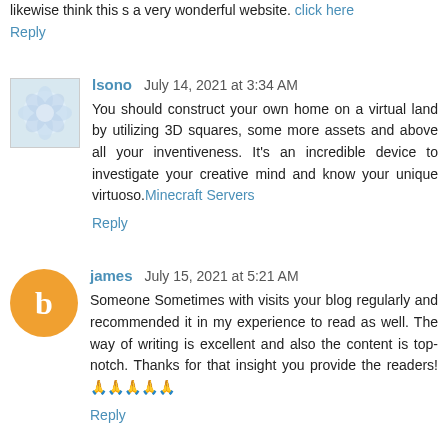likewise think this s a very wonderful website. click here
Reply
lsono  July 14, 2021 at 3:34 AM
You should construct your own home on a virtual land by utilizing 3D squares, some more assets and above all your inventiveness. It's an incredible device to investigate your creative mind and know your unique virtuoso. Minecraft Servers
Reply
james  July 15, 2021 at 5:21 AM
Someone Sometimes with visits your blog regularly and recommended it in my experience to read as well. The way of writing is excellent and also the content is top-notch. Thanks for that insight you provide the readers! 🙏🙏🙏🙏🙏
Reply